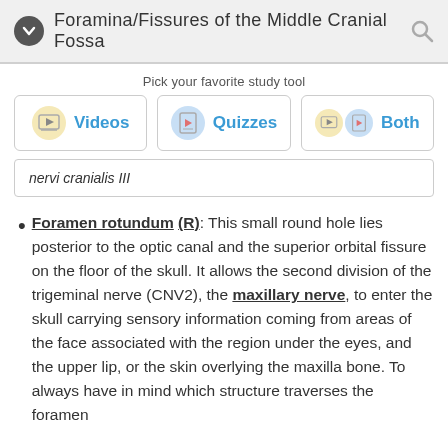Foramina/Fissures of the Middle Cranial Fossa
Pick your favorite study tool
[Figure (other): Study tool selection buttons: Videos, Quizzes, Both]
nervi cranialis III
Foramen rotundum (R): This small round hole lies posterior to the optic canal and the superior orbital fissure on the floor of the skull. It allows the second division of the trigeminal nerve (CNV2), the maxillary nerve, to enter the skull carrying sensory information coming from areas of the face associated with the region under the eyes, and the upper lip, or the skin overlying the maxilla bone. To always have in mind which structure traverses the foramen